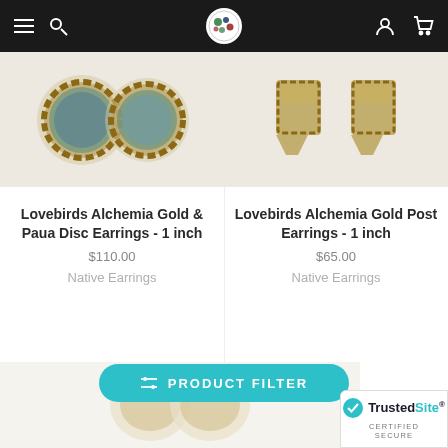Navigation bar with menu, search, logo, account and cart icons
[Figure (photo): Lovebirds Alchemia Gold & Paua Disc Earrings product photo - circular gold filigree earrings with blue abalone shell]
Lovebirds Alchemia Gold & Paua Disc Earrings - 1 inch
$110.00
Native Earrings
[Figure (photo): Lovebirds Alchemia Gold Post Earrings product photo - gold filigree rectangular earrings]
Lovebirds Alchemia Gold Post Earrings - 1 inch
$65.00
Native Earrings
[Figure (photo): Bottom partial product photo - blurred earrings]
PRODUCT FILTER
TrustedSite CERTIFIED SECURE